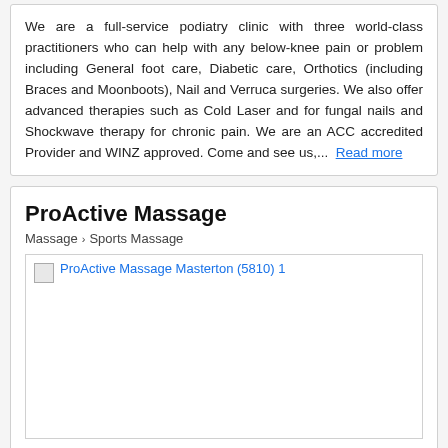We are a full-service podiatry clinic with three world-class practitioners who can help with any below-knee pain or problem including General foot care, Diabetic care, Orthotics (including Braces and Moonboots), Nail and Verruca surgeries. We also offer advanced therapies such as Cold Laser and for fungal nails and Shockwave therapy for chronic pain. We are an ACC accredited Provider and WINZ approved. Come and see us,... Read more
ProActive Massage
Massage > Sports Massage
[Figure (photo): Broken image placeholder for ProActive Massage Masterton (5810) 1]
438 Queen Street, Kuripuni, Masterton (5810), Wellington Region
10-20 km from Clareville (5713)